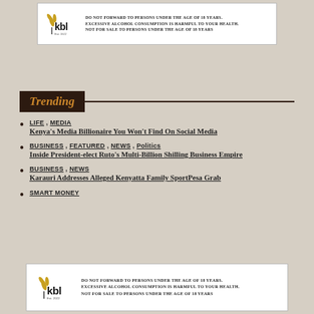[Figure (logo): KBL logo advertisement banner at top with warning text: DO NOT FORWARD TO PERSONS UNDER THE AGE OF 18 YEARS. EXCESSIVE ALCOHOL CONSUMPTION IS HARMFUL TO YOUR HEALTH. NOT FOR SALE TO PERSONS UNDER THE AGE OF 18 YEARS]
Trending
LIFE , MEDIA
Kenya's Media Billionaire You Won't Find On Social Media
BUSINESS , FEATURED , NEWS , Politics
Inside President-elect Ruto's Multi-Billion Shilling Business Empire
BUSINESS , NEWS
Karauri Addresses Alleged Kenyatta Family SportPesa Grab
SMART MONEY
[Figure (logo): KBL logo advertisement banner at bottom with warning text: DO NOT FORWARD TO PERSONS UNDER THE AGE OF 18 YEARS. EXCESSIVE ALCOHOL CONSUMPTION IS HARMFUL TO YOUR HEALTH. NOT FOR SALE TO PERSONS UNDER THE AGE OF 18 YEARS]